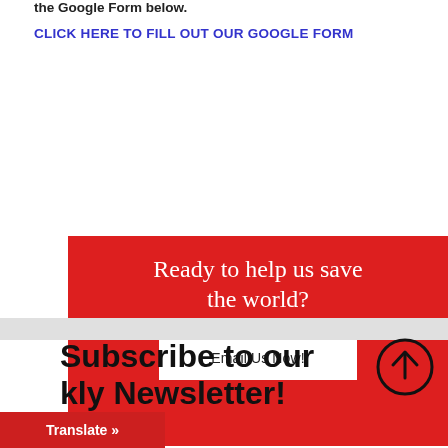the Google Form below.
CLICK HERE TO FILL OUT OUR GOOGLE FORM
[Figure (other): Red promotional box with white serif text 'Ready to help us save the world?' and a white button 'Email Us Now!']
Subscribe to our Weekly Newsletter!
Translate »